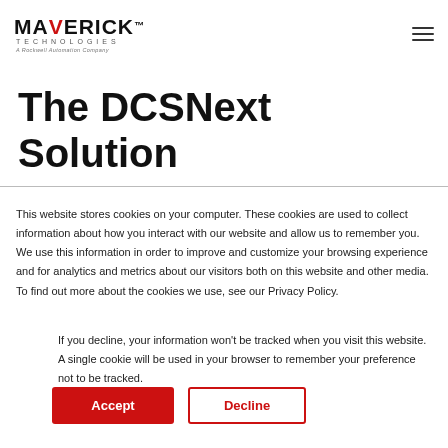[Figure (logo): Maverick Technologies logo with tagline 'A Rockwell Automation Company']
The DCSNext Solution
This website stores cookies on your computer. These cookies are used to collect information about how you interact with our website and allow us to remember you. We use this information in order to improve and customize your browsing experience and for analytics and metrics about our visitors both on this website and other media. To find out more about the cookies we use, see our Privacy Policy.
If you decline, your information won't be tracked when you visit this website. A single cookie will be used in your browser to remember your preference not to be tracked.